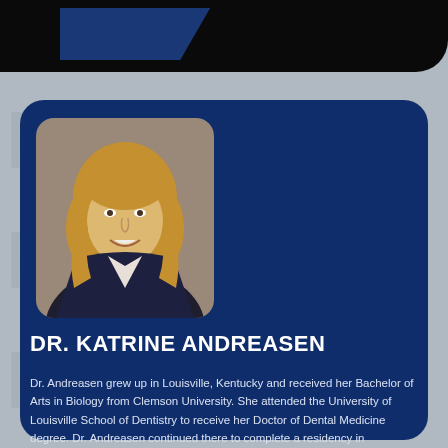[Figure (photo): Professional headshot of Dr. Katrine Andreasen, a woman with shoulder-length blonde hair wearing a dark blazer, smiling, against a neutral background]
DR. KATRINE ANDREASEN
Dr. Andreasen grew up in Louisville, Kentucky and received her Bachelor of Arts in Biology from Clemson University. She attended the University of Louisville School of Dentistry to receive her Doctor of Dental Medicine degree. Dr. Andreasen continued there to complete a residency in Periodontics and a Master of Science in Dentistry.